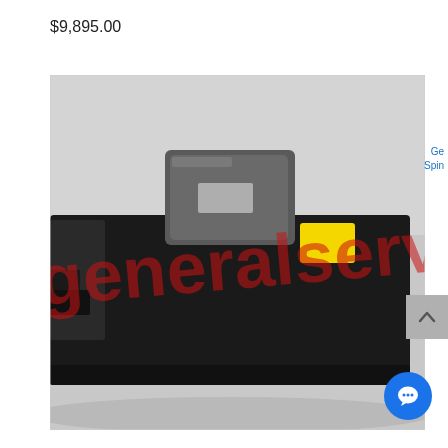$9,895.00
[Figure (photo): Close-up photo of a black industrial servo motor or spindle drive unit shown from the side, with a gray metallic connector/cap on top, a yellow warning label sticker on the body, and a red watermark text reading 'generalserv' overlaid across the image. Background is light gray.]
Ge
Spin